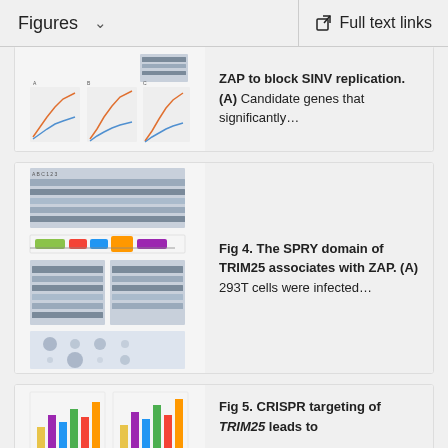Figures  ˅   Full text links
[Figure (screenshot): Partial figure thumbnail showing scientific charts with line graphs and a western blot]
ZAP to block SINV replication. (A) Candidate genes that significantly…
[Figure (screenshot): Figure 4 thumbnail showing western blots, protein domain diagram with colored blocks, and additional blot panels]
Fig 4. The SPRY domain of TRIM25 associates with ZAP. (A) 293T cells were infected…
[Figure (screenshot): Figure 5 thumbnail showing bar charts with colored bars]
Fig 5. CRISPR targeting of TRIM25 leads to